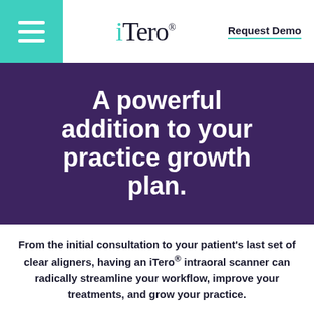iTero® — Request Demo
A powerful addition to your practice growth plan.
From the initial consultation to your patient's last set of clear aligners, having an iTero® intraoral scanner can radically streamline your workflow, improve your treatments, and grow your practice.